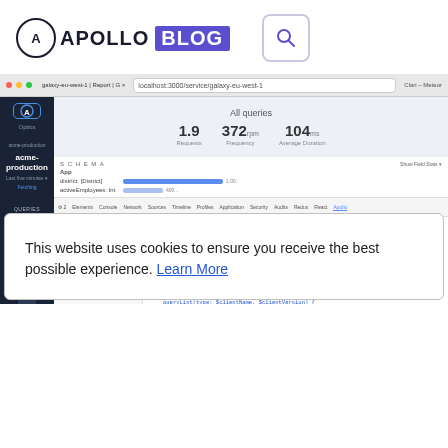[Figure (logo): Apollo Blog logo with circle A icon, APOLLO text, and purple BLOG badge, plus a search button with magnifying glass icon]
[Figure (screenshot): Screenshot of Apollo Optics dashboard showing browser chrome with acme-production service, query metrics (1.9 Requests, 372rpm Frequency, 104ms Average Duration), schema panel with App fields, DevTools panel showing matched queries and GraphQL code]
This website uses cookies to ensure you receive the best possible experience. Learn More